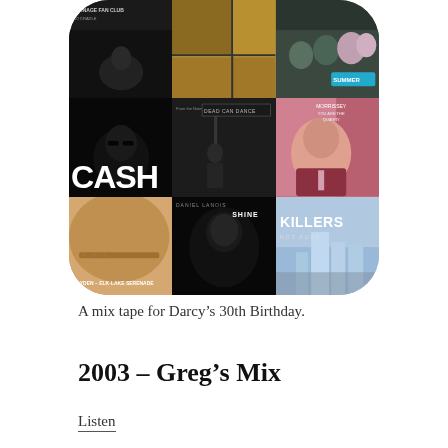[Figure (illustration): A 3x3 grid of music album covers including Cash, Dead Can Dance, Morrissey, Hayden, Daniel Lanois Shine, The Killers Hot Fuss, and others, arranged in a rounded square collage shape]
A mix tape for Darcy’s 30th Birthday.
2003 – Greg’s Mix
Listen